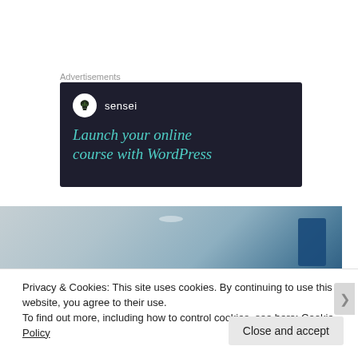Advertisements
[Figure (illustration): Sensei advertisement banner on dark navy background. Shows Sensei logo (tree icon in white circle) with text 'sensei', and headline in teal italic serif font: 'Launch your online course with WordPress']
[Figure (photo): Partial photo strip showing a blurred kitchen or table surface scene in muted blue-grey tones with orange element at bottom]
Privacy & Cookies: This site uses cookies. By continuing to use this website, you agree to their use.
To find out more, including how to control cookies, see here: Cookie Policy
Close and accept